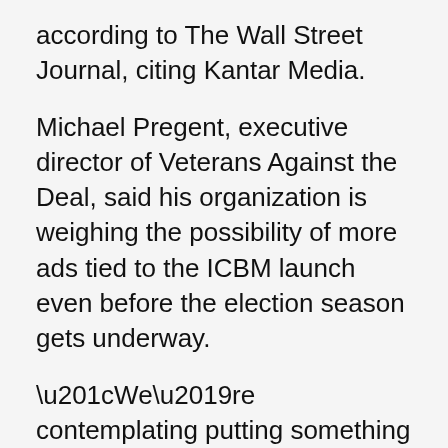according to The Wall Street Journal, citing Kantar Media.
Michael Pregent, executive director of Veterans Against the Deal, said his organization is weighing the possibility of more ads tied to the ICBM launch even before the election season gets underway.
“We’re contemplating putting something out talking about these violations,” said Mr. Pregent. “We’ll definitely be getting these up before implementation during the presidential election. We’ll highlight Iran’s violations. If the last 90 days are any indication of what Iran plans to do over the next 15 months, then we know that it’s not going to be a good year.”